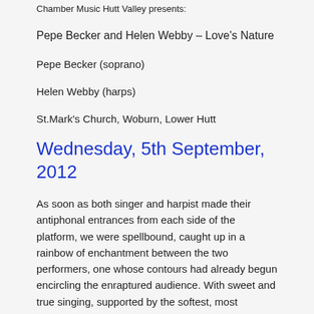Chamber Music Hutt Valley presents:
Pepe Becker and Helen Webby – Love's Nature
Pepe Becker (soprano)
Helen Webby (harps)
St.Mark's Church, Woburn, Lower Hutt
Wednesday, 5th September, 2012
As soon as both singer and harpist made their antiphonal entrances from each side of the platform, we were spellbound, caught up in a rainbow of enchantment between the two performers, one whose contours had already begun encircling the enraptured audience. With sweet and true singing, supported by the softest, most beguiling harp-tones, the musicians conjured up sounds which gave these visual illusions substance, even if at times the tones took on an ethereal, unearthly quality that belied their worldly origins. All of this was